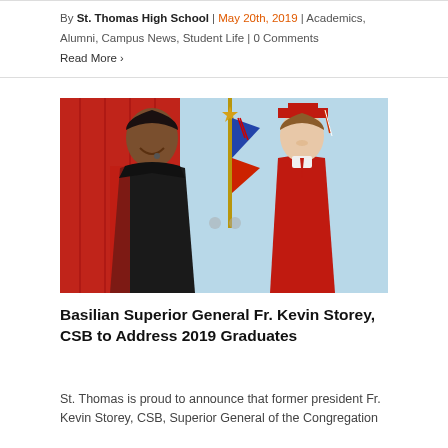By St. Thomas High School | May 20th, 2019 | Academics, Alumni, Campus News, Student Life | 0 Comments
Read More >
[Figure (photo): A priest in academic regalia and a graduate in red cap and gown smiling together outdoors, with a flag in the background.]
Basilian Superior General Fr. Kevin Storey, CSB to Address 2019 Graduates
St. Thomas is proud to announce that former president Fr. Kevin Storey, CSB, Superior General of the Congregation